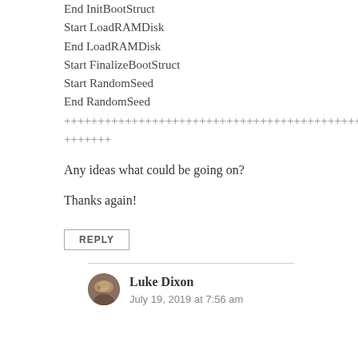End InitBootStruct
Start LoadRAMDisk
End LoadRAMDisk
Start FinalizeBootStruct
Start RandomSeed
End RandomSeed
++++++++++++++++++++++++++++++++++++++++++++++++++
+++++++
Any ideas what could be going on?
Thanks again!
REPLY
Luke Dixon
July 19, 2019 at 7:56 am